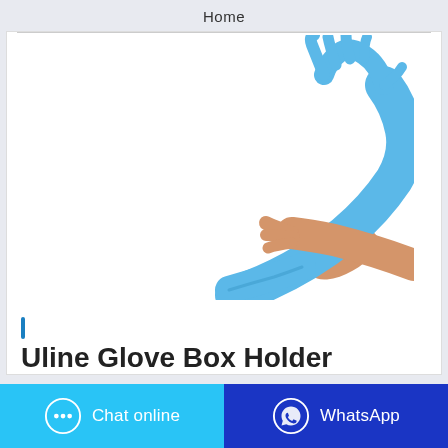Home
[Figure (photo): Photo of a person putting on blue nitrile/latex examination gloves. One extended gloved hand is raised, the other hand is pulling the glove cuff onto the wrist. White background.]
Uline Glove Box Holder
Chat online
WhatsApp